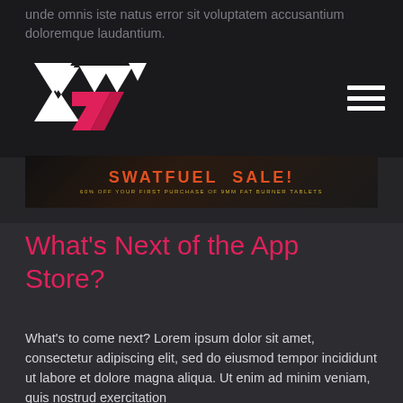unde omnis iste natus error sit voluptatem accusantium doloremque laudantium.
[Figure (logo): Stylized logo with white angular arrow/chevron shapes and a pink/magenta ribbon or chevron element below]
[Figure (other): Hamburger menu icon (three white horizontal lines)]
[Figure (other): Advertisement banner: SWATFUEL SALE! 60% OFF YOUR FIRST PURCHASE OF 9MM FAT BURNER TABLETS]
What's Next of the App Store?
What's to come next? Lorem ipsum dolor sit amet, consectetur adipiscing elit, sed do eiusmod tempor incididunt ut labore et dolore magna aliqua. Ut enim ad minim veniam, quis nostrud exercitation